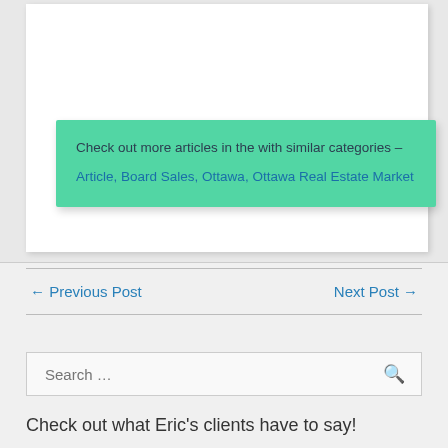Check out more articles in the with similar categories – Article, Board Sales, Ottawa, Ottawa Real Estate Market
← Previous Post
Next Post →
Search …
Check out what Eric's clients have to say!